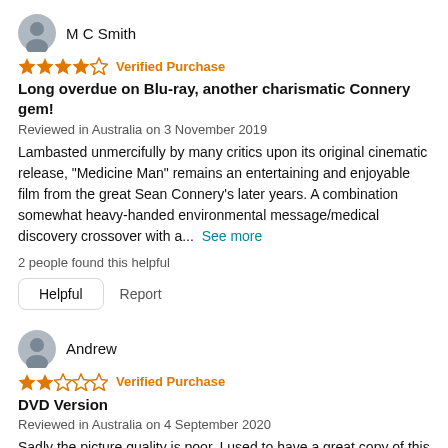M C Smith
★★★★☆ Verified Purchase
Long overdue on Blu-ray, another charismatic Connery gem!
Reviewed in Australia on 3 November 2019
Lambasted unmercifully by many critics upon its original cinematic release, "Medicine Man" remains an entertaining and enjoyable film from the great Sean Connery's later years. A combination somewhat heavy-handed environmental message/medical discovery crossover with a... See more
2 people found this helpful
Helpful   Report
Andrew
★★☆☆☆ Verified Purchase
DVD Version
Reviewed in Australia on 4 September 2020
Sadly the picture quality is poor. I used to have a great copy of this on VHS. But no word for the old data anymore so it